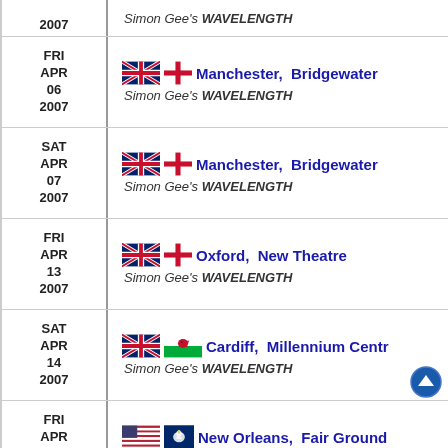2007 | Simon Gee's WAVELENGTH (partial top)
FRI APR 06 2007 | Manchester, Bridgewater | Simon Gee's WAVELENGTH
SAT APR 07 2007 | Manchester, Bridgewater | Simon Gee's WAVELENGTH
FRI APR 13 2007 | Oxford, New Theatre | Simon Gee's WAVELENGTH
SAT APR 14 2007 | Cardiff, Millennium Centre | Simon Gee's WAVELENGTH
FRI APR 27 2007 | New Orleans, Fair Grounds | Simon Gee's WAVELENGTH
SAT (partial bottom)